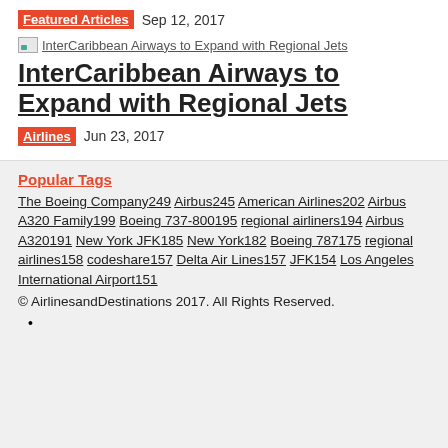Featured Articles  Sep 12, 2017
[Figure (photo): Broken image placeholder for InterCaribbean Airways to Expand with Regional Jets]
InterCaribbean Airways to Expand with Regional Jets
Airlines  Jun 23, 2017
Popular Tags
The Boeing Company 249 Airbus 245 American Airlines 202 Airbus A320 Family 199 Boeing 737-800 195 regional airliners 194 Airbus A320 191 New York JFK 185 New York 182 Boeing 787 175 regional airlines 158 codeshare 157 Delta Air Lines 157 JFK 154 Los Angeles International Airport 151
© AirlinesandDestinations 2017. All Rights Reserved.